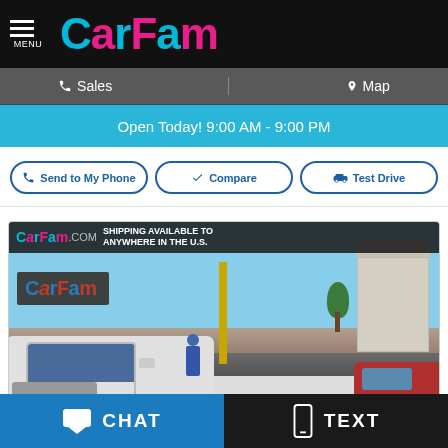MENU | CarFam
Sales | Map
Open Today! 9:00 AM - 9:00 PM
Send to My Phone | Compare | Test Drive
[Figure (photo): CarFam dealership exterior photo showing signage with 'SHIPPING AVAILABLE TO ANYWHERE IN THE U.S.' banner and vehicles in lot]
CHAT | TEXT